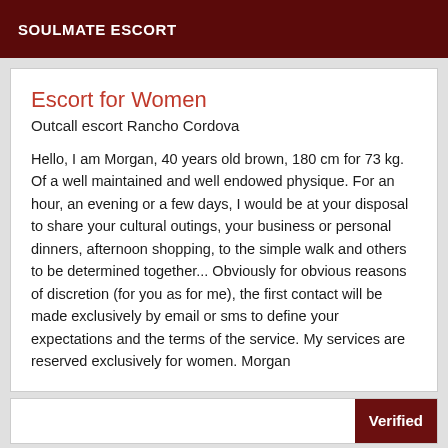SOULMATE ESCORT
Escort for Women
Outcall escort Rancho Cordova
Hello, I am Morgan, 40 years old brown, 180 cm for 73 kg. Of a well maintained and well endowed physique. For an hour, an evening or a few days, I would be at your disposal to share your cultural outings, your business or personal dinners, afternoon shopping, to the simple walk and others to be determined together... Obviously for obvious reasons of discretion (for you as for me), the first contact will be made exclusively by email or sms to define your expectations and the terms of the service. My services are reserved exclusively for women. Morgan
Verified